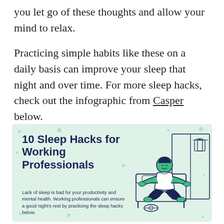you let go of these thoughts and allow your mind to relax.
Practicing simple habits like these on a daily basis can improve your sleep that night and over time. For more sleep hacks, check out the infographic from Casper below.
[Figure (infographic): Infographic with mint green background titled '10 Sleep Hacks for Working Professionals' with an illustration of a person meditating in a bedroom setting. Text reads: Lack of sleep is bad for your productivity and mental health. Working professionals can ensure a good night's rest by practicing the sleep hacks below.]